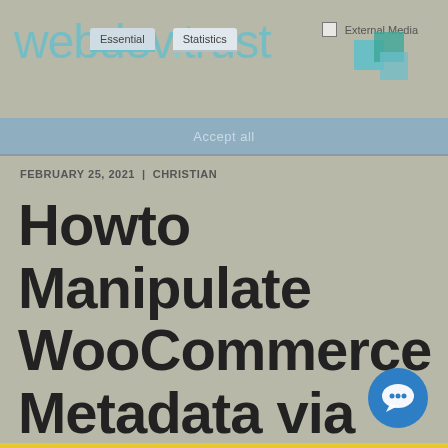webdev.trust
FEBRUARY 25, 2021 | CHRISTIAN
Howto Manipulate WooCommerce Metadata via SQL